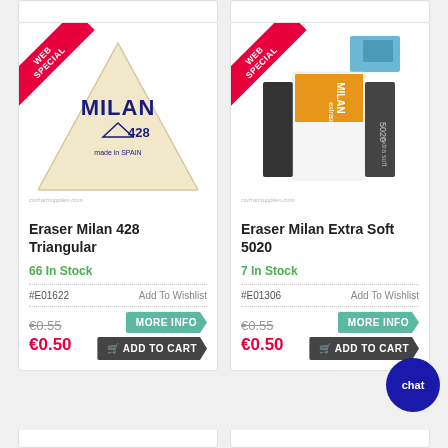[Figure (photo): Milan 428 Triangular eraser - cream/beige triangular shaped eraser with MILAN and 428 text, made in Spain]
Eraser Milan 428 Triangular
66 In Stock
#E01622
Add To Wishlist
€0.55
MORE INFO
€0.50
ADD TO CART
[Figure (photo): Milan Extra Soft 5020 eraser - white rectangular eraser in black and orange packaging]
Eraser Milan Extra Soft 5020
7 In Stock
#E01306
Add To Wishlist
€0.55
MORE INFO
€0.50
ADD TO CART